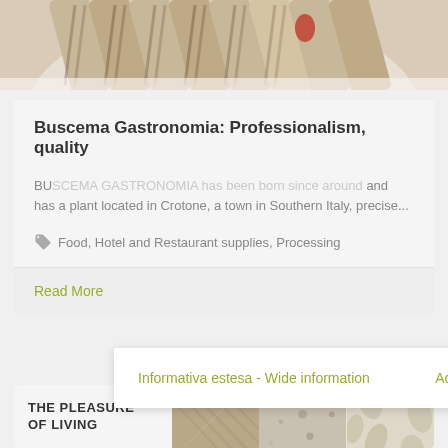[Figure (photo): Close-up photo of food items, appears to be grilled or baked vegetables/bread arranged on a white plate, partially visible at top of page]
Buscema Gastronomia: Professionalism, quality
Informativa estesa - Wide information   Accept
BUSCEMA GASTRONOMIA has been active since around and has a plant located in Crotone, a town in Southern Italy, precise...
Food, Hotel and Restaurant supplies, Processing
Read More
THE PLEASURE
OF LIVING
[Figure (photo): Three texture/fabric swatches showing different patterns: tan/beige woven texture, speckled stone or material texture, and cream/white floral or leaf pattern]